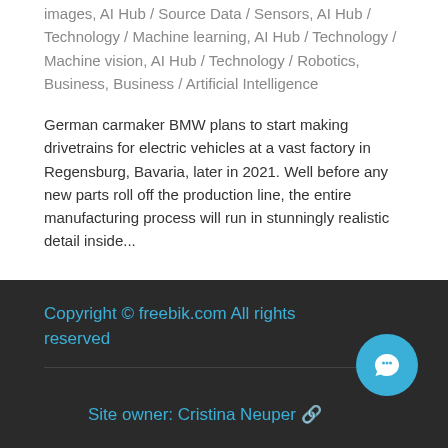images, AI Hub / Source Data / Sensors, AI Hub / Technology / Machine learning, AI Hub / Technology / Machine vision, AI Hub / Technology / Robotics, Business, Business / Artificial Intelligence
German carmaker BMW plans to start making drivetrains for electric vehicles at a vast factory in Regensburg, Bavaria, later in 2021. Well before any new parts roll off the production line, the entire manufacturing process will run in stunningly realistic detail inside...
Copyright © freebik.com All rights reserved
Site owner: Cristina Neuper 🔗